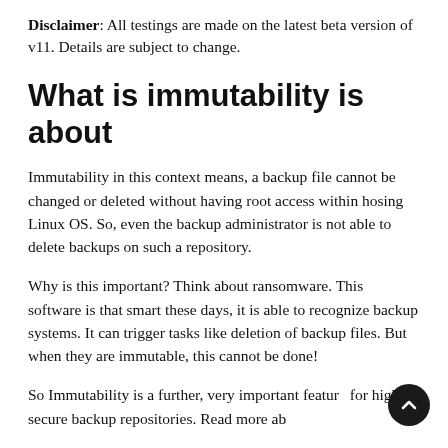Disclaimer: All testings are made on the latest beta version of v11. Details are subject to change.
What is immutability is about
Immutability in this context means, a backup file cannot be changed or deleted without having root access within hosing Linux OS. So, even the backup administrator is not able to delete backups on such a repository.
Why is this important? Think about ransomware. This software is that smart these days, it is able to recognize backup systems. It can trigger tasks like deletion of backup files. But when they are immutable, this cannot be done!
So Immutability is a further, very important feature for high secure backup repositories. Read more about immutability in detail in this context.